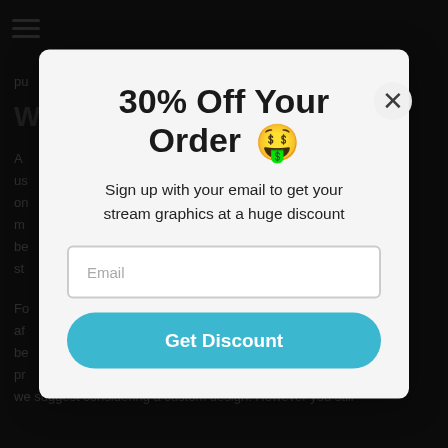[Figure (screenshot): Website background with dark overlay showing partial text content of a streaming graphics product page]
30% Off Your Order 🤑
Sign up with your email to get your stream graphics at a huge discount
Email
Get Discount